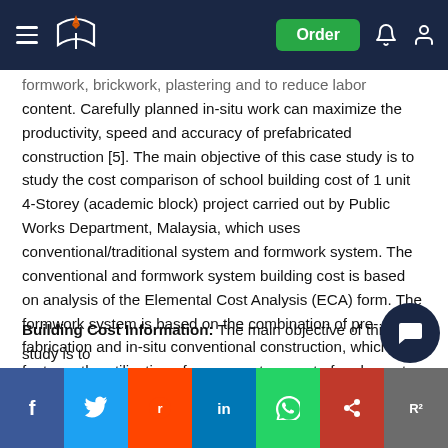Navigation bar with hamburger menu, logo, Order button, notification and account icons
formwork, brickwork, plastering and to reduce labor content. Carefully planned in-situ work can maximize the productivity, speed and accuracy of prefabricated construction [5]. The main objective of this case study is to study the cost comparison of school building cost of 1 unit 4-Storey (academic block) project carried out by Public Works Department, Malaysia, which uses conventional/traditional system and formwork system. The conventional and formwork system building cost is based on analysis of the Elemental Cost Analysis (ECA) form. The formwork system is based on the combination of pre-fabrication and in-situ conventional construction, which features the utilization of permanent concrete for element instead of conventional timber formwork.
Building Cost Information: The main objective of this case study is to y c c o school building which uses conventional/traditional system and